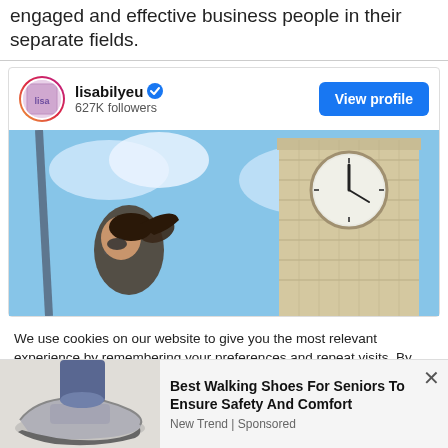engaged and effective business people in their separate fields.
[Figure (screenshot): Instagram profile card for lisabilyeu with 627K followers and a View profile button, showing a photo of a woman with sunglasses and a ponytail against the backdrop of Big Ben in London]
We use cookies on our website to give you the most relevant experience by remembering your preferences and repeat visits. By clicking "Accept All", you consent to the use of ALL the cookies. However, you may visit "Cookie Settings" to provide a controlled consent.
[Figure (photo): Ad banner showing walking shoes for seniors with text: Best Walking Shoes For Seniors To Ensure Safety And Comfort. New Trend | Sponsored]